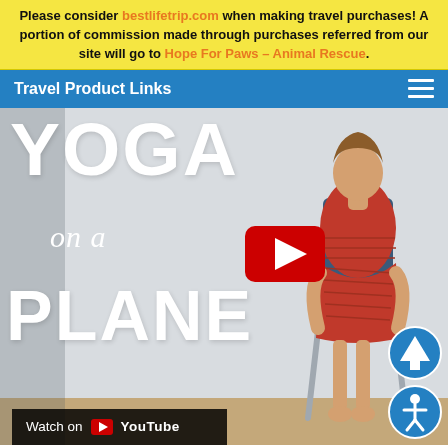Please consider bestlifetrip.com when making travel purchases! A portion of commission made through purchases referred from our site will go to Hope For Paws - Animal Rescue.
Travel Product Links
[Figure (screenshot): YouTube video thumbnail for 'Yoga on a Plane' showing a woman in an orange dress sitting on a chair, with large white text reading YOGA on a PLANE, a YouTube play button overlay, and a 'Watch on YouTube' bar at the bottom]